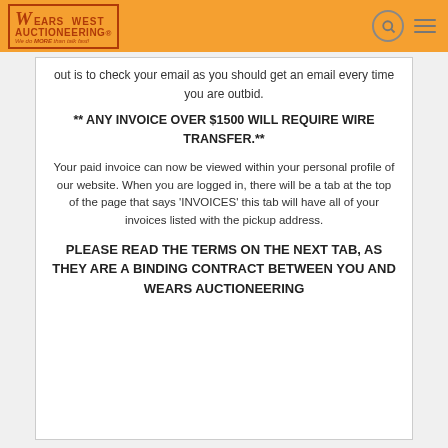Wears Auctioneering West
out is to check your email as you should get an email every time you are outbid.
** ANY INVOICE OVER $1500 WILL REQUIRE WIRE TRANSFER.**
Your paid invoice can now be viewed within your personal profile of our website. When you are logged in, there will be a tab at the top of the page that says 'INVOICES' this tab will have all of your invoices listed with the pickup address.
PLEASE READ THE TERMS ON THE NEXT TAB, AS THEY ARE A BINDING CONTRACT BETWEEN YOU AND WEARS AUCTIONEERING